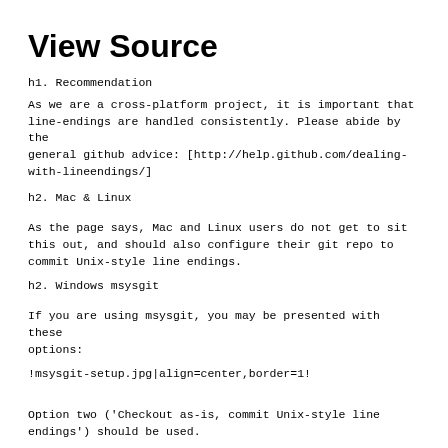View Source
h1. Recommendation
As we are a cross-platform project, it is important that line-endings are handled consistently. Please abide by the general github advice: [http://help.github.com/dealing-with-lineendings/]
h2. Mac & Linux
As the page says, Mac and Linux users do not get to sit this out, and should also configure their git repo to commit Unix-style line endings.
h2. Windows msysgit
If you are using msysgit, you may be presented with these options:
!msysgit-setup.jpg|align=center,border=1!
Option two ('Checkout as-is, commit Unix-style line endings') should be used.